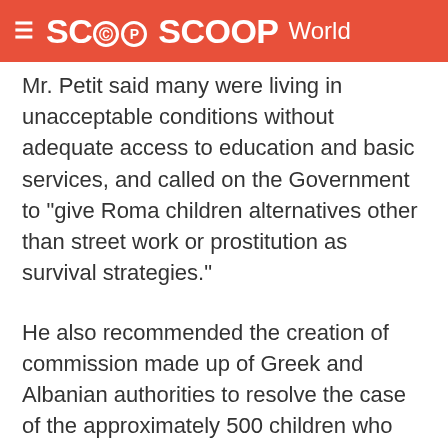SCOOP World
Mr. Petit said many were living in unacceptable conditions without adequate access to education and basic services, and called on the Government to “give Roma children alternatives other than street work or prostitution as survival strategies.”
He also recommended the creation of commission made up of Greek and Albanian authorities to resolve the case of the approximately 500 children who went missing from the children’s institution Aghia Varvara between 1998 and 2002.
Mr. Petit noted that his visit to Greece immediately followed a mission to Albania, and said the purpose of